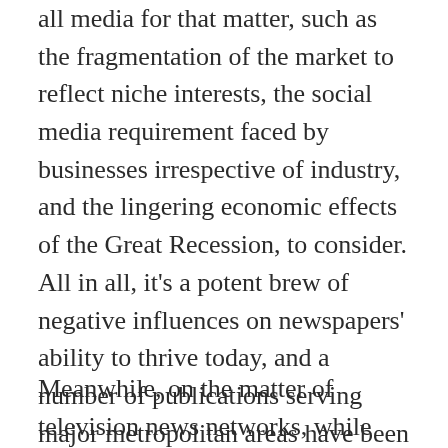all media for that matter, such as the fragmentation of the market to reflect niche interests, the social media requirement faced by businesses irrespective of industry, and the lingering economic effects of the Great Recession, to consider. All in all, it's a potent brew of negative influences on newspapers' ability to thrive today, and a number of publications serving major metropolitan areas have been forced to limit print circulation or fold altogether over the years.
Meanwhile, on the matter of television news networks, while recently the networks have